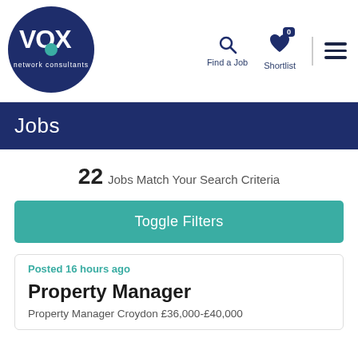[Figure (logo): VOX network consultants circular logo with dark navy blue background and teal/white VOX lettering]
Find a Job
Shortlist
Jobs
22 Jobs Match Your Search Criteria
Toggle Filters
Posted 16 hours ago
Property Manager
Property Manager Croydon £36,000-£40,000